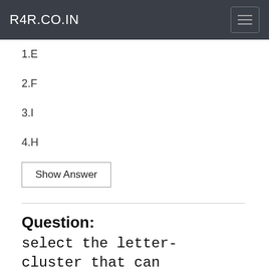R4R.CO.IN
1.E
2.F
3.I
4.H
Show Answer
Question:
select the letter-cluster that can replace the question mark (?) in the